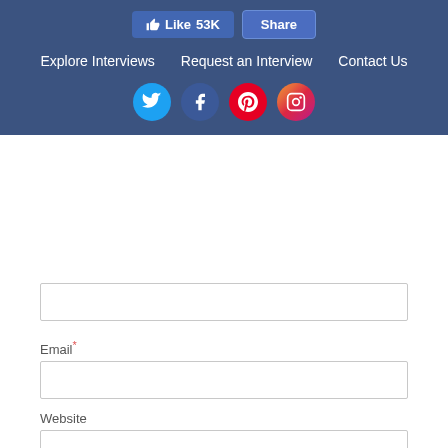[Figure (screenshot): Navigation bar with Like (53K) and Share buttons, nav links (Explore Interviews, Request an Interview, Contact Us), and social media icons (Twitter, Facebook, Pinterest, Instagram)]
Email *
Website
Captcha *
[Figure (other): Captcha image showing distorted text '99193' with a refresh icon]
Type the text displayed above:
Comment *